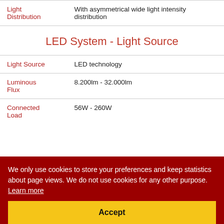| Property | Value |
| --- | --- |
| Light Distribution | With asymmetrical wide light intensity distribution |
| LED System - Light Source |  |
| Light Source | LED technology |
| Luminous Flux | 8.200lm - 32.000lm |
| Connected Load | 56W - 260W |
We only use cookies to store your preferences and keep statistics about page views. We do not use cookies for any other purpose. Learn more